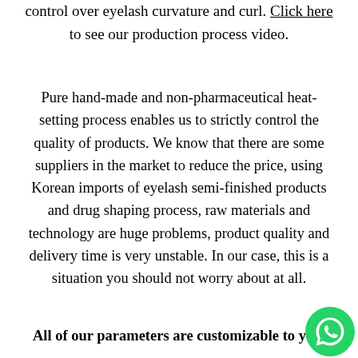control over eyelash curvature and curl. Click here to see our production process video.
Pure hand-made and non-pharmaceutical heat-setting process enables us to strictly control the quality of products. We know that there are some suppliers in the market to reduce the price, using Korean imports of eyelash semi-finished products and drug shaping process, raw materials and technology are huge problems, product quality and delivery time is very unstable. In our case, this is a situation you should not worry about at all.
All of our parameters are customizable to you.
[Figure (logo): WhatsApp icon — green circle with white phone/chat bubble logo, bottom-right corner]